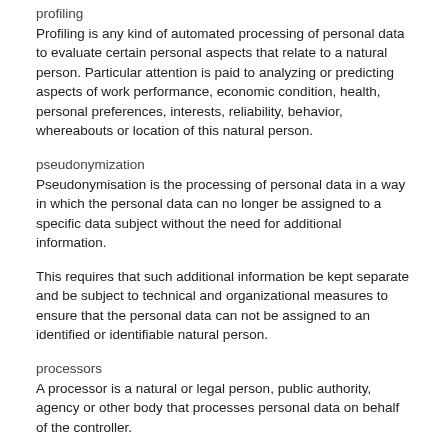profiling
Profiling is any kind of automated processing of personal data to evaluate certain personal aspects that relate to a natural person. Particular attention is paid to analyzing or predicting aspects of work performance, economic condition, health, personal preferences, interests, reliability, behavior, whereabouts or location of this natural person.
pseudonymization
Pseudonymisation is the processing of personal data in a way in which the personal data can no longer be assigned to a specific data subject without the need for additional information.
This requires that such additional information be kept separate and be subject to technical and organizational measures to ensure that the personal data can not be assigned to an identified or identifiable natural person.
processors
A processor is a natural or legal person, public authority, agency or other body that processes personal data on behalf of the controller.